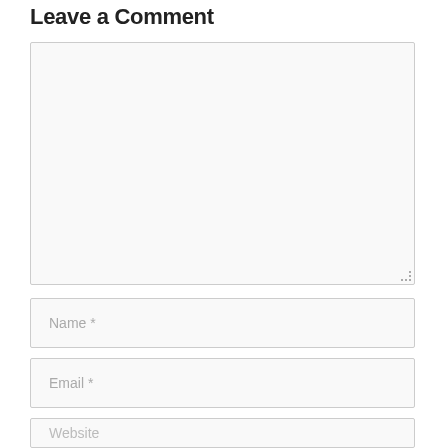Leave a Comment
[Figure (screenshot): A web comment form with a large textarea for the comment body, followed by input fields for Name *, Email *, and Website.]